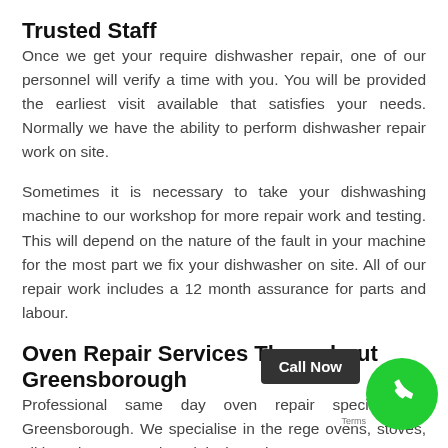Trusted Staff
Once we get your require dishwasher repair, one of our personnel will verify a time with you. You will be provided the earliest visit available that satisfies your needs. Normally we have the ability to perform dishwasher repair work on site.
Sometimes it is necessary to take your dishwashing machine to our workshop for more repair work and testing. This will depend on the nature of the fault in your machine for the most part we fix your dishwasher on site. All of our repair work includes a 12 month assurance for parts and labour.
Oven Repair Services Throughout Greensborough
Professional same day oven repair specialist in Greensborough. We specialise in the re... ge ovens, stoves, all brand names and models througho...